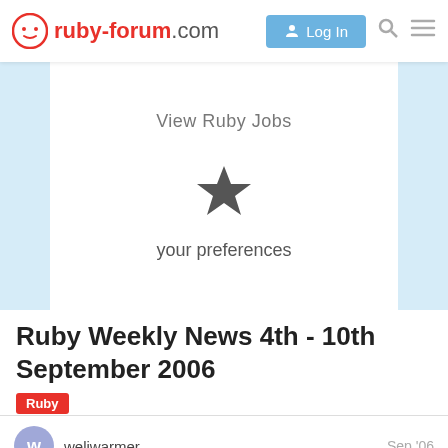ruby-forum.com — Log In
View Ruby Jobs
[Figure (illustration): Star icon (favorites/preferences) centered in white card]
your preferences
Ruby Weekly News 4th - 10th September 2006
Ruby
weliwarmer — Sep '06